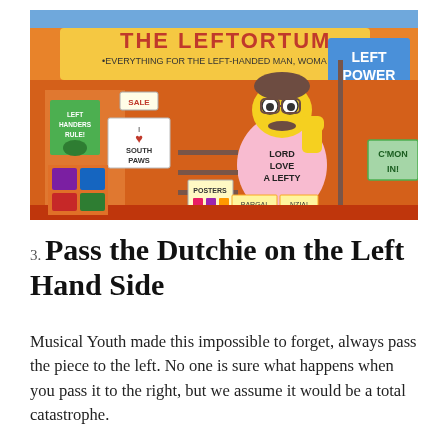[Figure (illustration): A Simpsons cartoon image of Ned Flanders standing outside 'The Leftortium' store — a shop for left-handed people. He is wearing a pink shirt that reads 'LORD LOVE A LEFTY' and holding a sign that says 'LEFT POWER'. The store sign reads 'THE LEFTORTIUM' and 'EVERYTHING FOR THE LEFT-HANDED MAN, WOMA...' Various signs inside the store read 'SALE', 'LEFT HANDERS RULE!', 'I HEART SOUTH PAWS', 'POSTERS', 'C'MON IN!'.]
3. Pass the Dutchie on the Left Hand Side
Musical Youth made this impossible to forget, always pass the piece to the left. No one is sure what happens when you pass it to the right, but we assume it would be a total catastrophe.